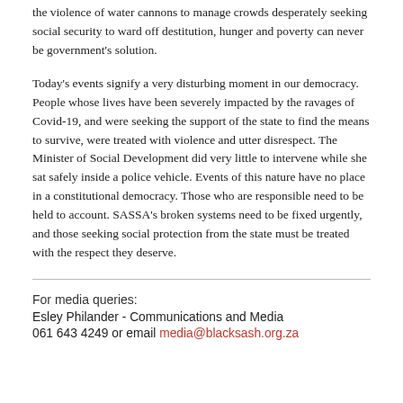the violence of water cannons to manage crowds desperately seeking social security to ward off destitution, hunger and poverty can never be government's solution.
Today's events signify a very disturbing moment in our democracy. People whose lives have been severely impacted by the ravages of Covid-19, and were seeking the support of the state to find the means to survive, were treated with violence and utter disrespect. The Minister of Social Development did very little to intervene while she sat safely inside a police vehicle. Events of this nature have no place in a constitutional democracy. Those who are responsible need to be held to account. SASSA's broken systems need to be fixed urgently, and those seeking social protection from the state must be treated with the respect they deserve.
For media queries:
Esley Philander - Communications and Media
061 643 4249 or email media@blacksash.org.za